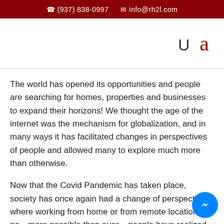☎ (937) 838-0997   ✉ info@rh2l.com
[Figure (other): Navigation bar area with letters 'U' and 'a' in dark red, partial logo area]
The world has opened its opportunities and people are searching for homes, properties and businesses to expand their horizons! We thought the age of the internet was the mechanism for globalization, and in many ways it has facilitated changes in perspectives of people and allowed many to explore much more than otherwise.
Now that the Covid Pandemic has taken place, society has once again had a change of perspective – where working from home or from remote locations is now more possible then ever – people have realized they may not have to be in "ONE" location – but they can